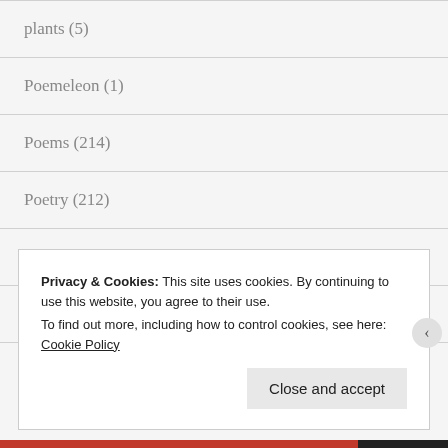plants (5)
Poemeleon (1)
Poems (214)
Poetry (212)
Posts (2)
potluck poetry (1)
PROBLEMS (1)
Privacy & Cookies: This site uses cookies. By continuing to use this website, you agree to their use.
To find out more, including how to control cookies, see here: Cookie Policy
Close and accept